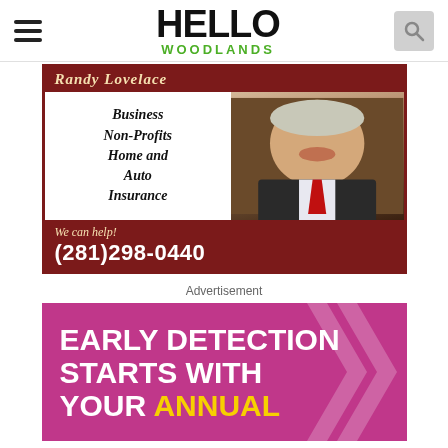HELLO WOODLANDS
[Figure (photo): Insurance advertisement for Randy Lovelace featuring photo of a man in a dark suit with red tie. Text reads: Business, Non-Profits, Home and Auto Insurance. We can help! (281)298-0440]
Advertisement
[Figure (photo): Medical/health advertisement with pink/magenta background and decorative chevrons. Large white bold text reads: EARLY DETECTION STARTS WITH YOUR ANNUAL]